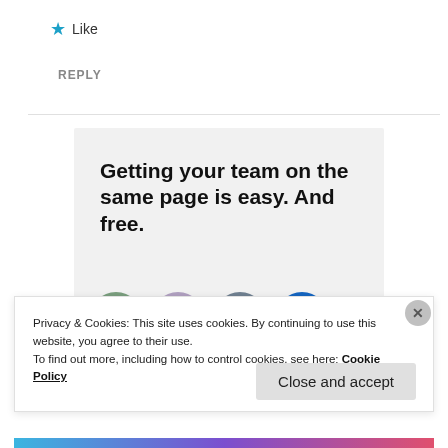★ Like
REPLY
[Figure (screenshot): Promotional banner with text 'Getting your team on the same page is easy. And free.' and a row of four circular avatars (three people photos and one blue circle with a person icon) on a light gray background.]
Privacy & Cookies: This site uses cookies. By continuing to use this website, you agree to their use.
To find out more, including how to control cookies, see here: Cookie Policy
Close and accept